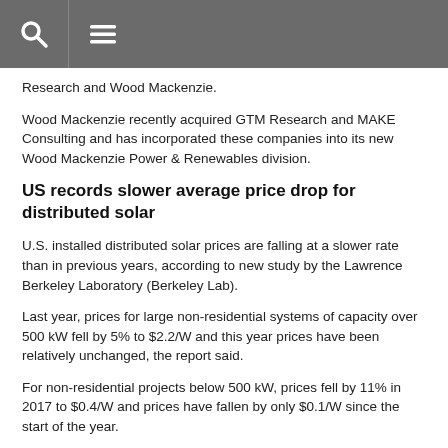Research and Wood Mackenzie.
Wood Mackenzie recently acquired GTM Research and MAKE Consulting and has incorporated these companies into its new Wood Mackenzie Power & Renewables division.
US records slower average price drop for distributed solar
U.S. installed distributed solar prices are falling at a slower rate than in previous years, according to new study by the Lawrence Berkeley Laboratory (Berkeley Lab).
Last year, prices for large non-residential systems of capacity over 500 kW fell by 5% to $2.2/W and this year prices have been relatively unchanged, the report said.
For non-residential projects below 500 kW, prices fell by 11% in 2017 to $0.4/W and prices have fallen by only $0.1/W since the start of the year.
US distributed solar costs